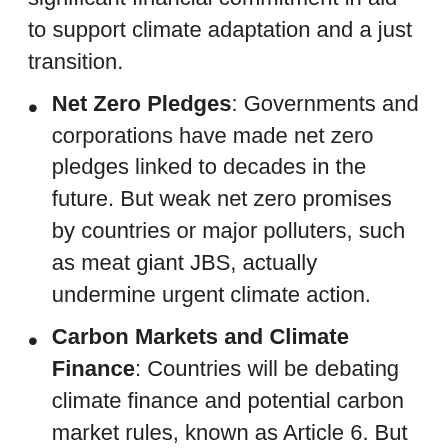significant financial commitment in aid to support climate adaptation and a just transition.
Net Zero Pledges: Governments and corporations have made net zero pledges linked to decades in the future. But weak net zero promises by countries or major polluters, such as meat giant JBS, actually undermine urgent climate action.
Carbon Markets and Climate Finance: Countries will be debating climate finance and potential carbon market rules, known as Article 6. But these controversial markets have failed to reduce emissions and instead have